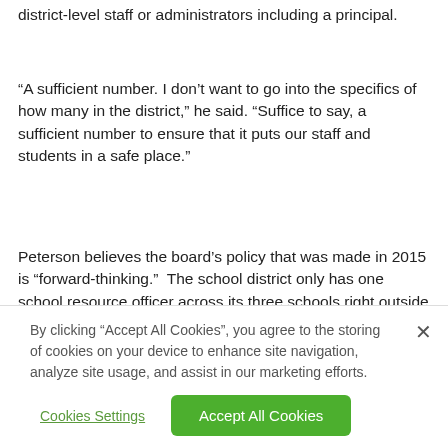district-level staff or administrators including a principal.
“A sufficient number. I don’t want to go into the specifics of how many in the district,” he said. “Suffice to say, a sufficient number to ensure that it puts our staff and students in a safe place.”
Peterson believes the board’s policy that was made in 2015 is “forward-thinking.”  The school district only has one school resource officer across its three schools right outside the Tri-Cities.
By clicking “Accept All Cookies”, you agree to the storing of cookies on your device to enhance site navigation, analyze site usage, and assist in our marketing efforts.
Cookies Settings
Accept All Cookies